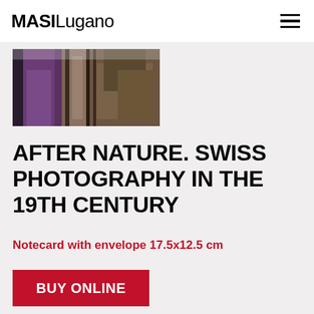MASILugano
[Figure (photo): Partial view of a historical photograph showing a figure in purple clothing and architectural columns, cropped at the top, from the After Nature Swiss Photography exhibition]
AFTER NATURE. SWISS PHOTOGRAPHY IN THE 19TH CENTURY
Notecard with envelope 17.5x12.5 cm
BUY ONLINE